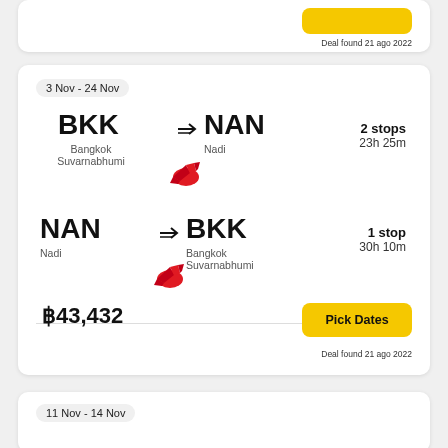Deal found 21 ago 2022
3 Nov - 24 Nov
BKK → NAN Bangkok Suvarnabhumi → Nadi 2 stops 23h 25m
NAN → BKK Nadi → Bangkok Suvarnabhumi 1 stop 30h 10m
฿43,432
Pick Dates
Deal found 21 ago 2022
11 Nov - 14 Nov